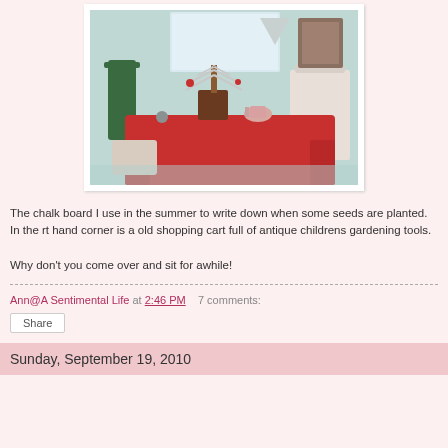[Figure (photo): Interior room photo showing a table covered with a red tablecloth, a silver aluminum Christmas tree in a pot on the table, decorative items, chairs, and wall decor.]
The chalk board I use in the summer to write down when some seeds are planted. In the rt hand corner is a old shopping cart full of antique childrens gardening tools.
Why don't you come over and sit for awhile!
Ann@A Sentimental Life at 2:46 PM    7 comments:
Share
Sunday, September 19, 2010